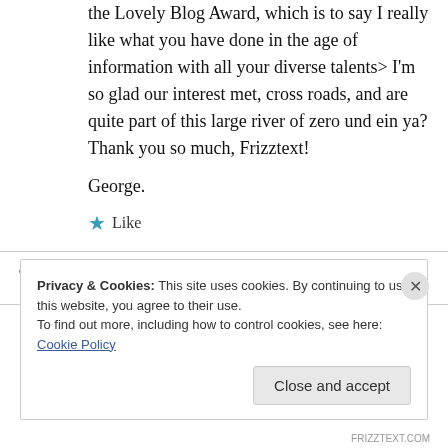the Lovely Blog Award, which is to say I really like what you have done in the age of information with all your diverse talents> I'm so glad our interest met, cross roads, and are quite part of this large river of zero und ein ya? Thank you so much, Frizztext!
George.
★ Like
↪ Reply
Privacy & Cookies: This site uses cookies. By continuing to use this website, you agree to their use.
To find out more, including how to control cookies, see here: Cookie Policy
Close and accept
FRIZZTEXT.COM